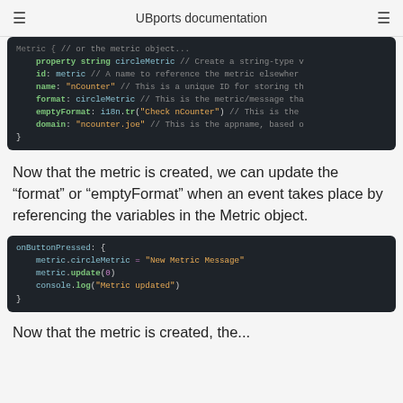UBports documentation
[Figure (screenshot): Code block showing QML property string circleMetric definition with id, name, format, emptyFormat, and domain properties]
Now that the metric is created, we can update the “format” or “emptyFormat” when an event takes place by referencing the variables in the Metric object.
[Figure (screenshot): Code block showing onButtonPressed handler with metric.circleMetric assignment, metric.update(0), and console.log calls]
Now that the metric is created, the...